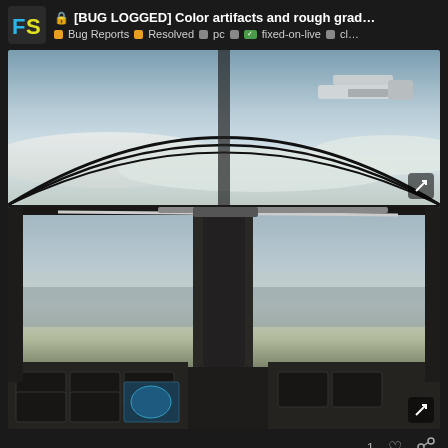[BUG LOGGED] Color artifacts and rough grad... Bug Reports · Resolved · pc · fixed-on-live · cl...
[Figure (screenshot): Flight simulator cockpit view from above clouds showing another aircraft's tail visible, with curved windshield frame lines forming arcs]
[Figure (screenshot): Flight simulator first-person cockpit interior view showing horizon over water with hazy sky, instrument panel visible at bottom]
1 ♡ 🔗
hobanagerik
103 / 528